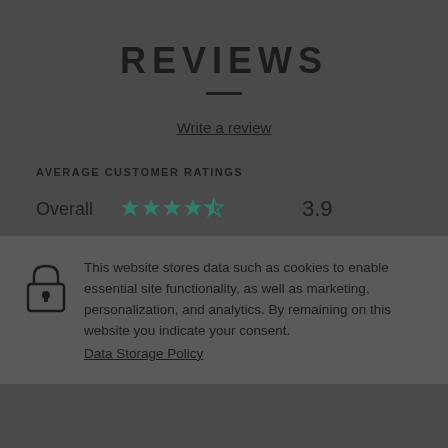REVIEWS
Write a review
AVERAGE CUSTOMER RATINGS
Overall  ★★★★☆  3.9
This website stores data such as cookies to enable essential site functionality, as well as marketing, personalization, and analytics. By remaining on this website you indicate your consent. Data Storage Policy